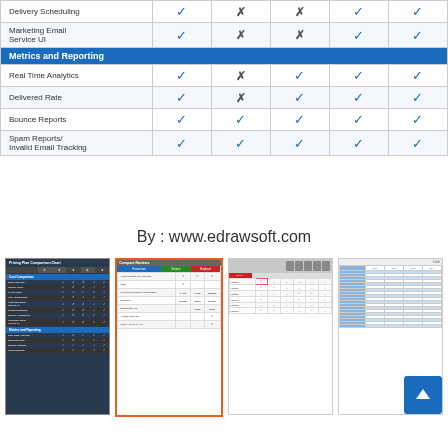| Feature | Col1 | Col2 | Col3 | Col4 | Col5 |
| --- | --- | --- | --- | --- | --- |
| Delivery Scheduling | ✓ | ✗ | ✗ | ✓ | ✓ |
| Marketing Email Service UI | ✓ | ✗ | ✗ | ✓ | ✓ |
| Metrics and Reporting |  |  |  |  |  |
| Real Time Analytics | ✓ | ✗ | ✓ | ✓ | ✓ |
| Delivered Rate | ✓ | ✗ | ✓ | ✓ | ✓ |
| Bounce Reports | ✓ | ✓ | ✓ | ✓ | ✓ |
| Spam Reports/ Invalid Email Tracking | ✓ | ✓ | ✓ | ✓ | ✓ |
By : www.edrawsoft.com
[Figure (screenshot): Thumbnail of a pricing plan comparison chart with dark header and blue section headers, showing checkmarks and crosses in a table grid]
[Figure (screenshot): Thumbnail of a compare reviews table with orange border, featuring blue, green, and red column headers]
[Figure (screenshot): Thumbnail of a comparison table with device icons at the top and colored cells]
[Figure (screenshot): Thumbnail of a blank or lightly-styled comparison table with blue shaded column]